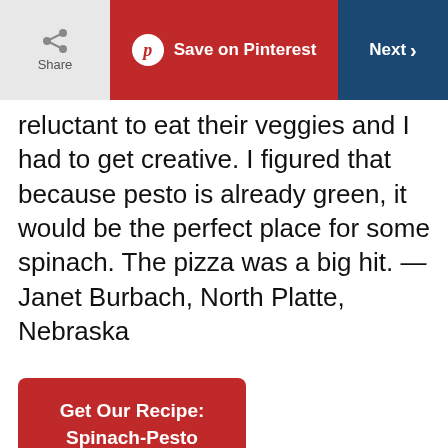Share | Save on Pinterest | Next
reluctant to eat their veggies and I had to get creative. I figured that because pesto is already green, it would be the perfect place for some spinach. The pizza was a big hit. — Janet Burbach, North Platte, Nebraska
Get Our Recipe: Spinach-Pesto White Pizza
16 / 16